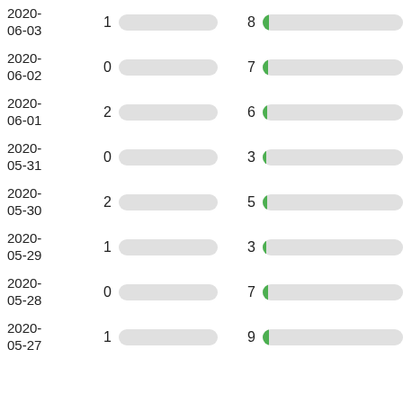[Figure (table-as-image): A list of dates from 2020-05-27 to 2020-06-03, each row showing a date label, a small numeric value with a grey pill-shaped bar, and a larger numeric value with a green-tipped grey bar.]
| Date | Left Value | Right Value |
| --- | --- | --- |
| 2020-06-03 | 1 | 8 |
| 2020-06-02 | 0 | 7 |
| 2020-06-01 | 2 | 6 |
| 2020-05-31 | 0 | 3 |
| 2020-05-30 | 2 | 5 |
| 2020-05-29 | 1 | 3 |
| 2020-05-28 | 0 | 7 |
| 2020-05-27 | 1 | 9 |